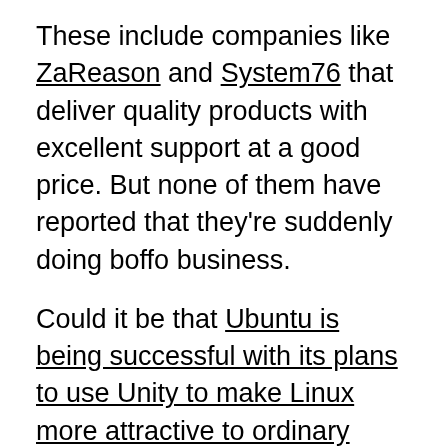These include companies like ZaReason and System76 that deliver quality products with excellent support at a good price. But none of them have reported that they're suddenly doing boffo business.
Could it be that Ubuntu is being successful with its plans to use Unity to make Linux more attractive to ordinary users? Are tech-savvy users finally realizing that Linux really will run on anything these days? Sure, it may not run popular Windows games like World of Warcraft (WoW) natively, but many Windows games, like WoW will run on Linux with Crossover Games. Linux, though, will run applications that do everything most people need or want. Are folks finally realizing that Linux's